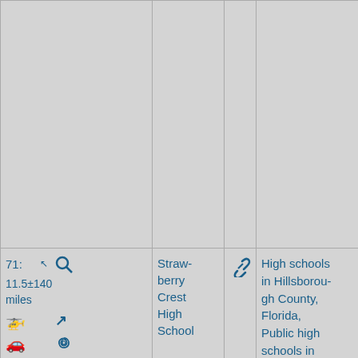| #/Distance | Actions | Link | Name | Categories | Extra |
| --- | --- | --- | --- | --- | --- |
|  |  |  |  |  |  |
| 71: 11.5±140 miles [icons] | [search/nav icons] | 🔗 | Strawberry Crest High School | High schools in Hillsborough County, Florida, Public high schools in Florida, Hidden categories:, Pages using duplicate arguments in template calls, All articles with dead external links, Articles with dead external links from October... |  |